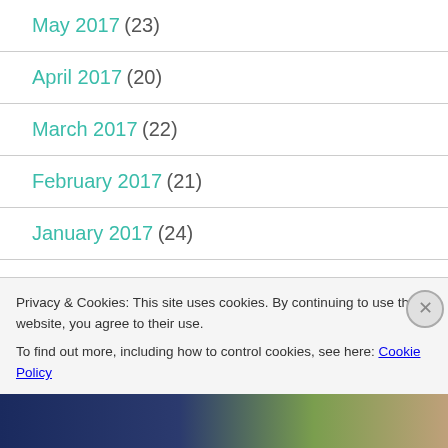May 2017 (23)
April 2017 (20)
March 2017 (22)
February 2017 (21)
January 2017 (24)
December 2016 (24)
Privacy & Cookies: This site uses cookies. By continuing to use this website, you agree to their use.
To find out more, including how to control cookies, see here: Cookie Policy
Close and accept